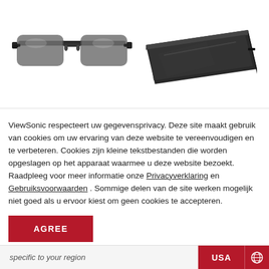[Figure (photo): Product photo of 3D glasses (left) and a thin black media device (right) on white background]
ViewSonic respecteert uw gegevensprivacy. Deze site maakt gebruik van cookies om uw ervaring van deze website te vereenvoudigen en te verbeteren. Cookies zijn kleine tekstbestanden die worden opgeslagen op het apparaat waarmee u de website bezoekt. Raadpleeg voor meer informatie onze Privacyverklaring en Gebruiksvoorwaarden . Sommige delen van de site werken mogelijk niet goed als u ervoor kiest om geen cookies te accepteren.
AGREE
specific to your region
USA